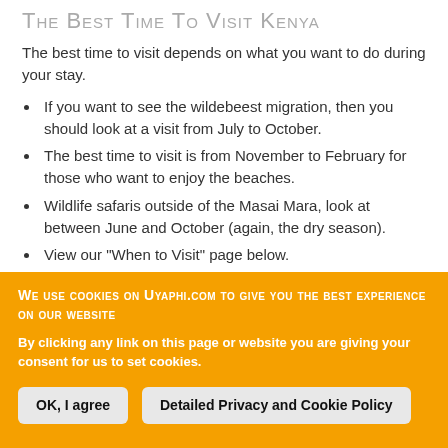The Best Time To Visit Kenya
The best time to visit depends on what you want to do during your stay.
If you want to see the wildebeest migration, then you should look at a visit from July to October.
The best time to visit is from November to February for those who want to enjoy the beaches.
Wildlife safaris outside of the Masai Mara, look at between June and October (again, the dry season).
View our "When to Visit" page below.
As a side note, visiting outside of the above peaks seasons is slightly cheaper, and although wildlife sights are not as good, one will still get to view and photograph a
WE USE COOKIES ON UYAPHI.COM TO GIVE YOU THE BEST EXPERIENCE ON OUR WEBSITE
By clicking any link on this page or website you are giving your consent for us to set cookies.
OK, I agree | Detailed Privacy and Cookie Policy